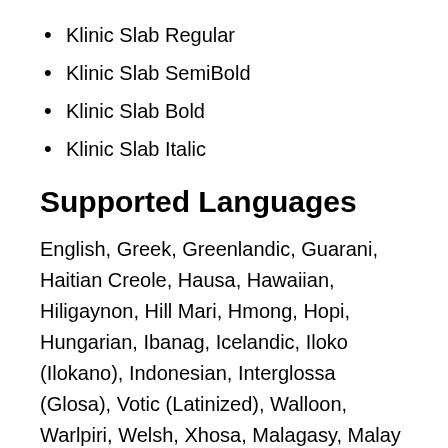Klinic Slab Regular
Klinic Slab SemiBold
Klinic Slab Bold
Klinic Slab Italic
Supported Languages
English, Greek, Greenlandic, Guarani, Haitian Creole, Hausa, Hawaiian, Hiligaynon, Hill Mari, Hmong, Hopi, Hungarian, Ibanag, Icelandic, Iloko (Ilokano), Indonesian, Interglossa (Glosa), Votic (Latinized), Walloon, Warlpiri, Welsh, Xhosa, Malagasy, Malay (Latinized), Maltese, Northern Sotho (Pedi), Norwegian, Occitan, Oromo, Czech, Danish, Dungan, Dutch, English, Esperanto,